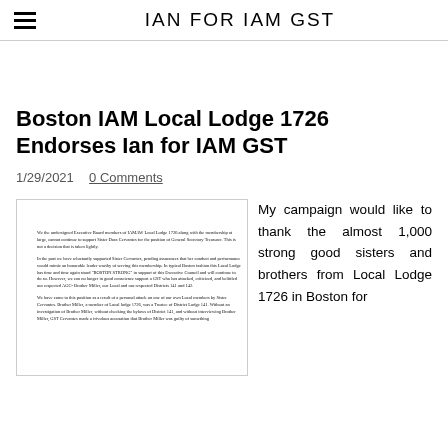IAN FOR IAM GST
Boston IAM Local Lodge 1726 Endorses Ian for IAM GST
1/29/2021  0 Comments
[Figure (photo): Scanned letter from IAMAW Local Lodge 1726 executive board members withdrawing support for Sister Dora Cervantes for the position of General Secretary Treasurer, mentioning Brother Miller and Boston Strong.]
My campaign would like to thank the almost 1,000 strong good sisters and brothers from Local Lodge 1726 in Boston for